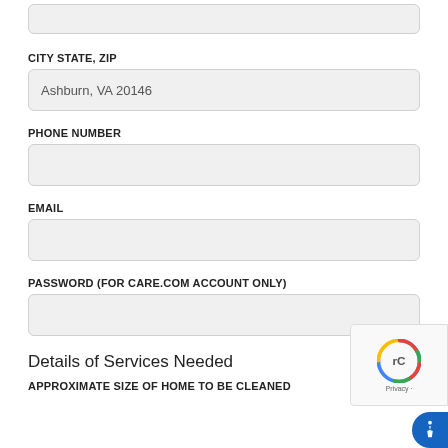(input box - top partial)
CITY STATE, ZIP
Ashburn, VA 20146
PHONE NUMBER
(empty input)
EMAIL
(empty input)
PASSWORD (FOR CARE.COM ACCOUNT ONLY)
(empty input)
Details of Services Needed
APPROXIMATE SIZE OF HOME TO BE CLEANED